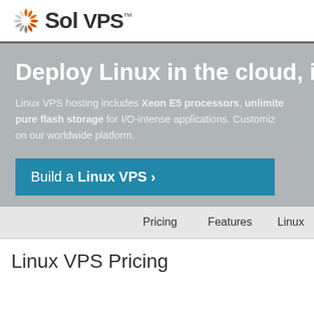SolVPS™
Deploy Linux in the cloud, in
Linux VPS hosting includes Xeon E5 processors, unlimited pure flash storage for I/O-intense applications. Customize on our worldwide platform.
Build a Linux VPS ›
Pricing   Features   Linux
Linux VPS Pricing